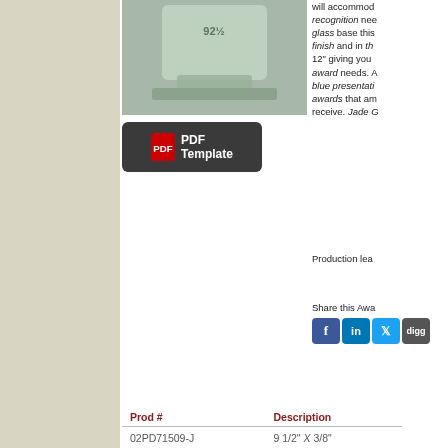[Figure (photo): Glass award trophy with jade green tint on a base, top portion showing product number]
[Figure (other): PDF Template button with Adobe PDF icon]
will accommodate recognition needs. glass base this finish and in th 12" giving you award needs. A blue presentation awards that am receive. Jade G
Production lea
Share this Awa
| Prod # | Description |
| --- | --- |
| 02PD71509-J | 9 1/2" X 3/8" |
| 02PD71510-J | 10 1/2" X 3/8" |
| 02PD71512-J | 12" X 3/8" |
[Figure (photo): Circular jade glass award with scalloped edges on a stand]
Corporate Scal
Simple with an of this line of C Awards. Circul have a unique s the edges prov personalization stand allows fo surface. Availa X 5 1/2" and 6" flexibility for al These are awar give or receive